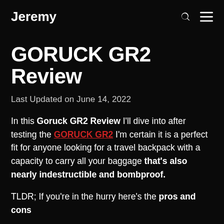Jeremy
GORUCK GR2 Review
Last Updated on June 14, 2022
In this Goruck GR2 Review I'll dive into after testing the GORUCK GR2 I'm certain it is a perfect fit for anyone looking for a travel backpack with a capacity to carry all your baggage that's also nearly indestructible and bombproof.
TLDR; If you're in the hurry here's the pros and cons